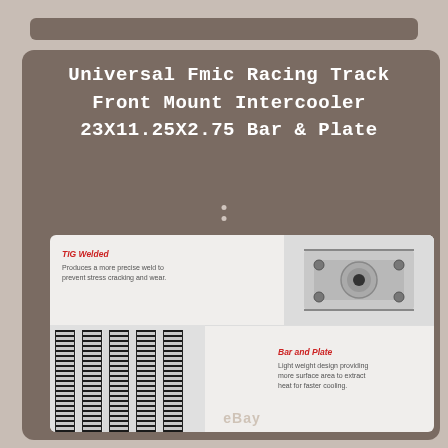Universal Fmic Racing Track Front Mount Intercooler 23X11.25X2.75 Bar & Plate
[Figure (photo): Product detail card showing three sections: TIG Welded weld close-up, Bar and Plate fin core, and Inlet/Outlet pipe end. Labels describe features of the intercooler.]